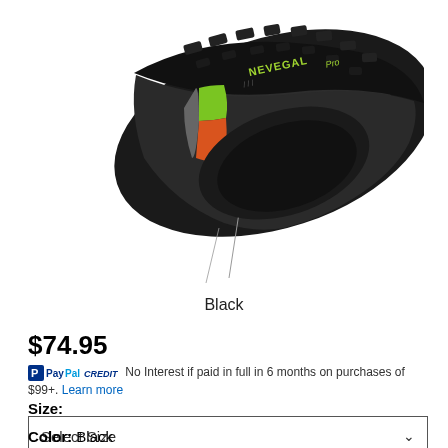[Figure (photo): Kenda Nevegal Pro mountain bike tire shown at an angle, black with green and orange sidewall coloring and knobby tread pattern]
Black
$74.95
PayPal CREDIT  No Interest if paid in full in 6 months on purchases of $99+. Learn more
Size:
Select Size
Color:  Black